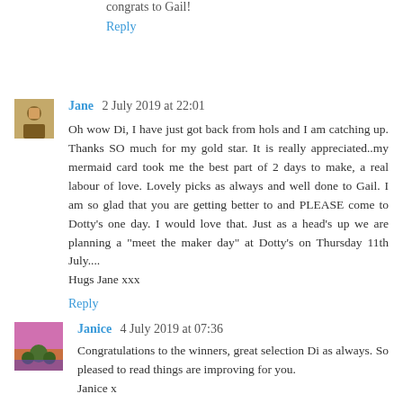congrats to Gail!
Reply
Jane  2 July 2019 at 22:01
Oh wow Di, I have just got back from hols and I am catching up. Thanks SO much for my gold star. It is really appreciated..my mermaid card took me the best part of 2 days to make, a real labour of love. Lovely picks as always and well done to Gail. I am so glad that you are getting better to and PLEASE come to Dotty's one day. I would love that. Just as a head's up we are planning a "meet the maker day" at Dotty's on Thursday 11th July....
Hugs Jane xxx
Reply
Janice  4 July 2019 at 07:36
Congratulations to the winners, great selection Di as always. So pleased to read things are improving for you.
Janice x